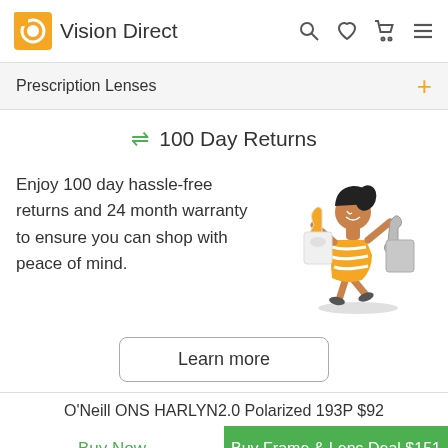Vision Direct
Prescription Lenses
⇌ 100 Day Returns
Enjoy 100 day hassle-free returns and 24 month warranty to ensure you can shop with peace of mind.
[Figure (illustration): Cartoon illustration of a happy woman holding shopping bags, wearing an orange striped dress]
Learn more
O'Neill ONS HARLYN2.0 Polarized 193P $92
Buy Now
Buy Frame & Lens Deal $151